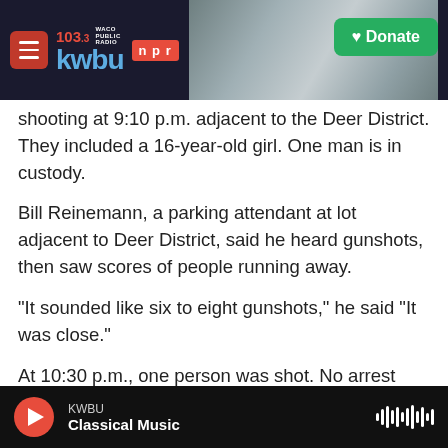KWBU 103.3 WACO PUBLIC RADIO NPR - Donate
shooting at 9:10 p.m. adjacent to the Deer District. They included a 16-year-old girl. One man is in custody.
Bill Reinemann, a parking attendant at lot adjacent to Deer District, said he heard gunshots, then saw scores of people running away.
"It sounded like six to eight gunshots," he said "It was close."
At 10:30 p.m., one person was shot. No arrest was made, Waldner said.
KWBU Classical Music